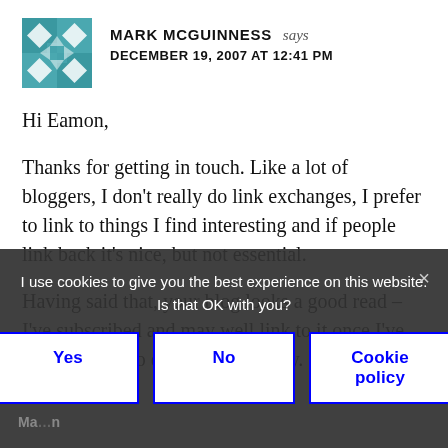MARK MCGUINNESS says
DECEMBER 19, 2007 AT 12:41 PM
Hi Eamon,
Thanks for getting in touch. Like a lot of bloggers, I don’t really do link exchanges, I prefer to link to things I find interesting and if people link back it’s nice, but not essential.
Having said that, your blog looks a good read – I’ve subscribed and may well link to it once I’ve had a chance to explore it properly.
I use cookies to give you the best experience on this website. Is that OK with you?
Yes   No   Cookie policy